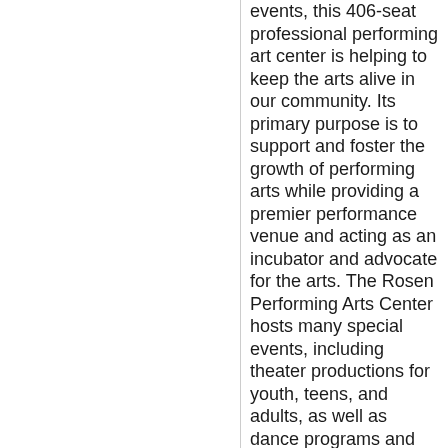events, this 406-seat professional performing art center is helping to keep the arts alive in our community. Its primary purpose is to support and foster the growth of performing arts while providing a premier performance venue and acting as an incubator and advocate for the arts. The Rosen Performing Arts Center hosts many special events, including theater productions for youth, teens, and adults, as well as dance programs and other special arts programs. If you're interested in